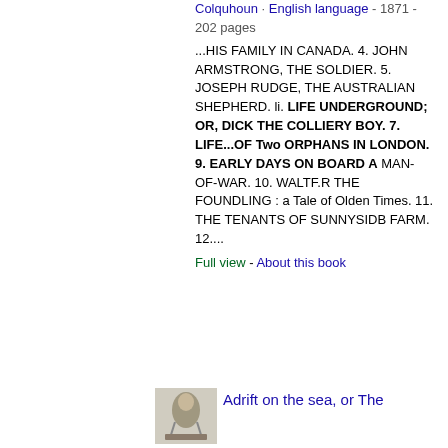Colquhoun · English language - 1871 - 202 pages
...HIS FAMILY IN CANADA. 4. JOHN ARMSTRONG, THE SOLDIER. 5. JOSEPH RUDGE, THE AUSTRALIAN SHEPHERD. li. LIFE UNDERGROUND; OR, DICK THE COLLIERY BOY. 7. LIFE...OF Two ORPHANS IN LONDON. 9. EARLY DAYS ON BOARD A MAN-OF-WAR. 10. WALTF.R THE FOUNDLING : a Tale of Olden Times. 11. THE TENANTS OF SUNNYSIDB FARM. 12....
Full view - About this book
[Figure (illustration): Small book cover thumbnail illustration showing a figure, partially visible]
Adrift on the sea, or The